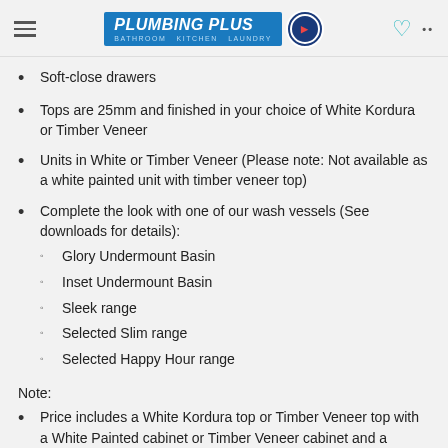Plumbing Plus — navigation header with logo, heart icon, and menu dots
Soft-close drawers
Tops are 25mm and finished in your choice of White Kordura or Timber Veneer
Units in White or Timber Veneer (Please note: Not available as a white painted unit with timber veneer top)
Complete the look with one of our wash vessels (See downloads for details): Glory Undermount Basin, Inset Undermount Basin, Sleek range, Selected Slim range, Selected Happy Hour range
Note:
Price includes a White Kordura top or Timber Veneer top with a White Painted cabinet or Timber Veneer cabinet and a selection